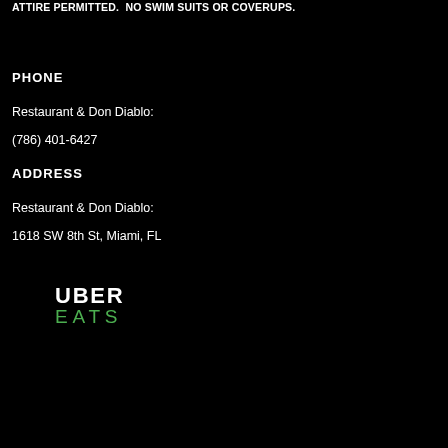ATTIRE PERMITTED. NO SWIM SUITS OR COVERUPS.
PHONE
Restaurant & Don Diablo:
(786) 401-6427
ADDRESS
Restaurant & Don Diablo:
1618 SW 8th St, Miami, FL
[Figure (logo): Uber Eats logo with UBER in white and EATS in green]